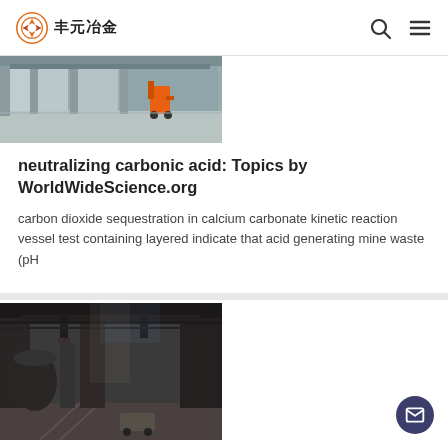丰元冶金
[Figure (photo): Industrial warehouse interior with large metal structures and an orange forklift visible]
neutralizing carbonic acid: Topics by WorldWideScience.org
carbon dioxide sequestration in calcium carbonate kinetic reaction vessel test containing layered indicate that acid generating mine waste (pH
[Figure (photo): Dark industrial interior of a large factory or smelting facility with heavy equipment and overhead cranes]